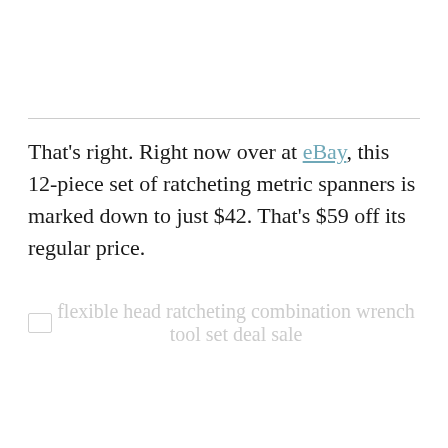That's right. Right now over at eBay, this 12-piece set of ratcheting metric spanners is marked down to just $42. That's $59 off its regular price.
[Figure (other): Placeholder image for flexible head ratcheting combination wrench tool set deal sale]